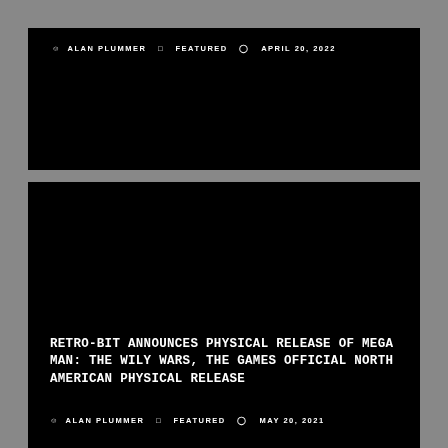ALAN PLUMMER  FEATURED  APRIL 20, 2022
[Figure (photo): Black image area for a card/article block]
RETRO-BIT ANNOUNCES PHYSICAL RELEASE OF MEGA MAN: THE WILY WARS, THE GAMES OFFICIAL NORTH AMERICAN PHYSICAL RELEASE
ALAN PLUMMER  FEATURED  MAY 20, 2021